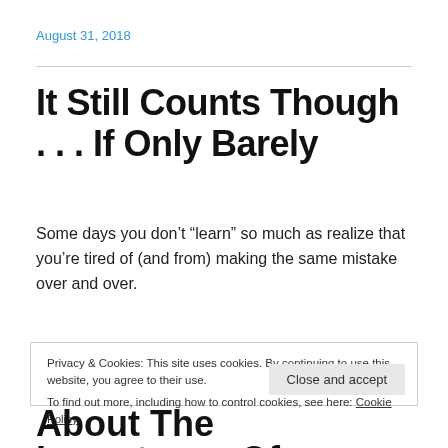August 31, 2018
It Still Counts Though . . . If Only Barely
Some days you don’t “learn” so much as realize that you’re tired of (and from) making the same mistake over and over.
Privacy & Cookies: This site uses cookies. By continuing to use this website, you agree to their use.
To find out more, including how to control cookies, see here: Cookie Policy
About The Importance Of